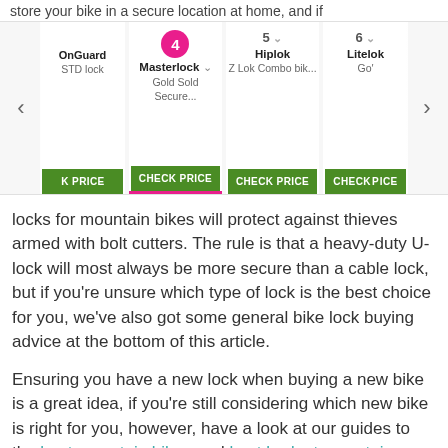store your bike in a secure location at home, and if
[Figure (screenshot): Product carousel showing bike lock items: OnGuard STD lock, Masterlock Gold Sold Secure (item 4, active), Hiplok Z Lok Combo bik..., Litelok Go... Each with CHECK PRICE green buttons and navigation arrows.]
locks for mountain bikes will protect against thieves armed with bolt cutters. The rule is that a heavy-duty U-lock will most always be more secure than a cable lock, but if you're unsure which type of lock is the best choice for you, we've also got some general bike lock buying advice at the bottom of this article.

Ensuring you have a new lock when buying a new bike is a great idea, if you're still considering which new bike is right for you, however, have a look at our guides to the best mountain bikes and best budget mountain bikes.